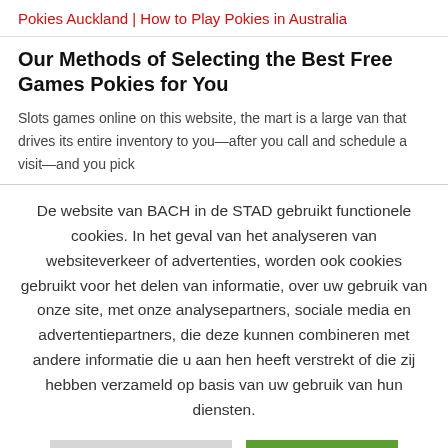Pokies Auckland | How to Play Pokies in Australia
Our Methods of Selecting the Best Free Games Pokies for You
Slots games online on this website, the mart is a large van that drives its entire inventory to you—after you call and schedule a visit—and you pick
De website van BACH in de STAD gebruikt functionele cookies. In het geval van het analyseren van websiteverkeer of advertenties, worden ook cookies gebruikt voor het delen van informatie, over uw gebruik van onze site, met onze analysepartners, sociale media en advertentiepartners, die deze kunnen combineren met andere informatie die u aan hen heeft verstrekt of die zij hebben verzameld op basis van uw gebruik van hun diensten.
Cookie instellingen
Aanvaarden